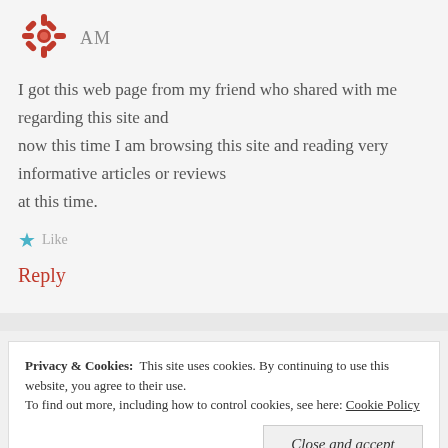[Figure (logo): Red decorative snowflake/flower avatar icon]
AM
I got this web page from my friend who shared with me regarding this site and now this time I am browsing this site and reading very informative articles or reviews at this time.
★ Like
Reply
Privacy & Cookies:  This site uses cookies. By continuing to use this website, you agree to their use. To find out more, including how to control cookies, see here: Cookie Policy
Close and accept